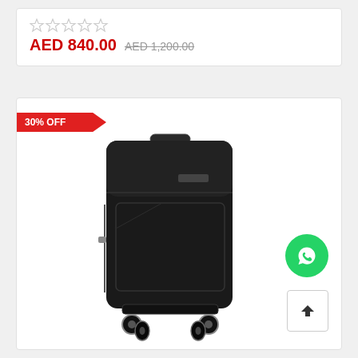[Figure (other): Star rating row with 5 empty/outline stars]
AED 840.00  AED 1,200.00
[Figure (photo): Black soft-shell spinner suitcase (luggage) with 4 wheels, shown on white background. A red '30% OFF' badge appears in the top-left corner. WhatsApp icon button and scroll-to-top button appear on the right side.]